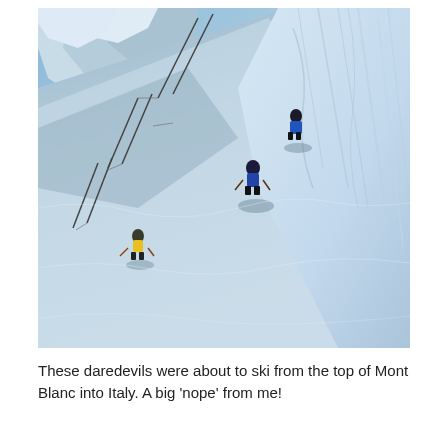[Figure (photo): Aerial or steep-angle view of an extremely steep snow-covered mountain slope at Mont Blanc. Two small figures in dark clothing are visible on the nearly vertical icy slope, with ski fencing poles along the run. Rocky, snow-capped mountain peaks are visible in the upper left background, and a sheer ice face is visible on the right side.]
These daredevils were about to ski from the top of Mont Blanc into Italy. A big 'nope' from me!